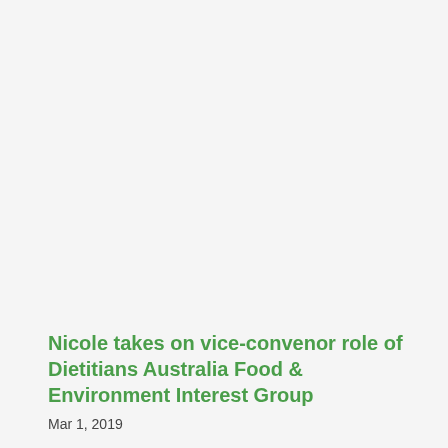Nicole takes on vice-convenor role of Dietitians Australia Food & Environment Interest Group
Mar 1, 2019
Nicole was nominated to continue as vice-convenor of The Food and Environment Interest